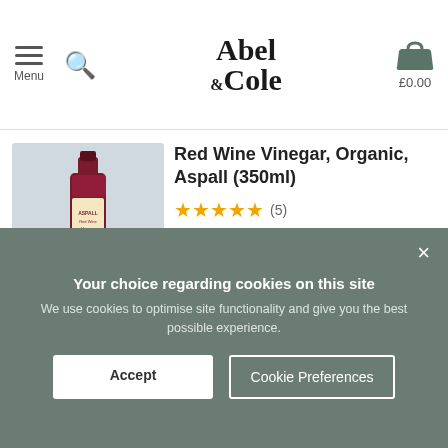Menu | Abel & Cole | £0.00
Red Wine Vinegar, Organic, Aspall (350ml)
★★★★★ (5)
£1.70  Sold out
(48.6p per 100ml)
[Figure (photo): Bottle of Aspall Red Wine Vinegar on a wooden surface against a light background]
[Figure (photo): Partial view of jars with purple lids at the bottom of the page]
Your choice regarding cookies on this site
We use cookies to optimise site functionality and give you the best possible experience.
Accept  Cookie Preferences